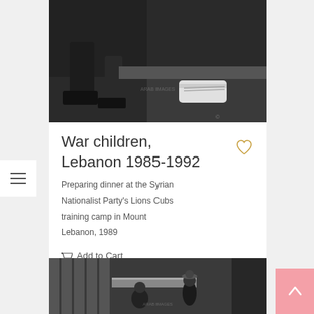[Figure (photo): Black and white photograph of people's feet and legs at ground level, with an Adidas sneaker visible]
War children, Lebanon 1985-1992
Preparing dinner at the Syrian Nationalist Party's Lions Cubs training camp in Mount Lebanon, 1989
Add to Cart
[Figure (photo): Black and white photograph of people near a building with columns, one person crouching]
[Figure (other): Scroll-to-top button with upward arrow, pink background]